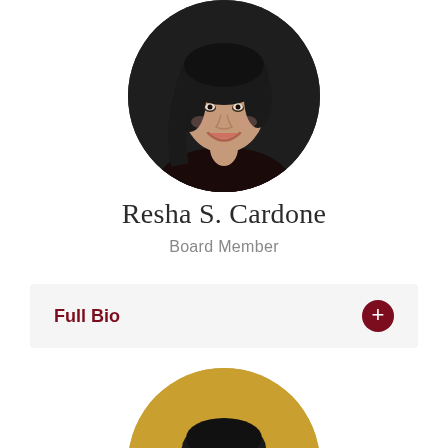[Figure (photo): Circular portrait photo of Resha S. Cardone, a woman with dark hair smiling, against a dark background]
Resha S. Cardone
Board Member
Full Bio
[Figure (photo): Circular portrait photo of a woman wearing glasses and hoop earrings, against a golden/yellow background, cropped at bottom]